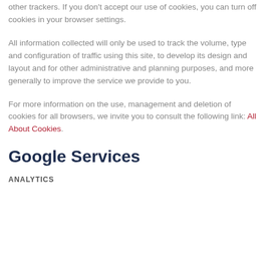other trackers. If you don't accept our use of cookies, you can turn off cookies in your browser settings.
All information collected will only be used to track the volume, type and configuration of traffic using this site, to develop its design and layout and for other administrative and planning purposes, and more generally to improve the service we provide to you.
For more information on the use, management and deletion of cookies for all browsers, we invite you to consult the following link: All About Cookies.
Google Services
ANALYTICS